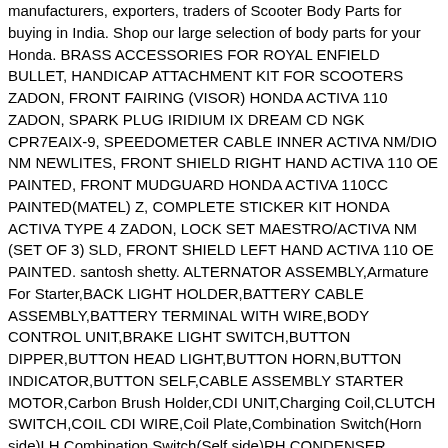manufacturers, exporters, traders of Scooter Body Parts for buying in India. Shop our large selection of body parts for your Honda. BRASS ACCESSORIES FOR ROYAL ENFIELD BULLET, HANDICAP ATTACHMENT KIT FOR SCOOTERS ZADON, FRONT FAIRING (VISOR) HONDA ACTIVA 110 ZADON, SPARK PLUG IRIDIUM IX DREAM CD NGK CPR7EAIX-9, SPEEDOMETER CABLE INNER ACTIVA NM/DIO NM NEWLITES, FRONT SHIELD RIGHT HAND ACTIVA 110 OE PAINTED, FRONT MUDGUARD HONDA ACTIVA 110CC PAINTED(MATEL) Z, COMPLETE STICKER KIT HONDA ACTIVA TYPE 4 ZADON, LOCK SET MAESTRO/ACTIVA NM (SET OF 3) SLD, FRONT SHIELD LEFT HAND ACTIVA 110 OE PAINTED. santosh shetty. ALTERNATOR ASSEMBLY,Armature For Starter,BACK LIGHT HOLDER,BATTERY CABLE ASSEMBLY,BATTERY TERMINAL WITH WIRE,BODY CONTROL UNIT,BRAKE LIGHT SWITCH,BUTTON DIPPER,BUTTON HEAD LIGHT,BUTTON HORN,BUTTON INDICATOR,BUTTON SELF,CABLE ASSEMBLY STARTER MOTOR,Carbon Brush Holder,CDI UNIT,Charging Coil,CLUTCH SWITCH,COIL CDI WIRE,Coil Plate,Combination Switch(Horn side)LH,Combination Switch(Self side)RH,CONDENSER ASSEMBLY,CORDS,DISTRIBUTOR ASSEMBLY,ECU,ELECTRONIC FLASHER,FUSE,FUSE BOX ASSY,FUSE BOX WIRE,HEAD LAMP